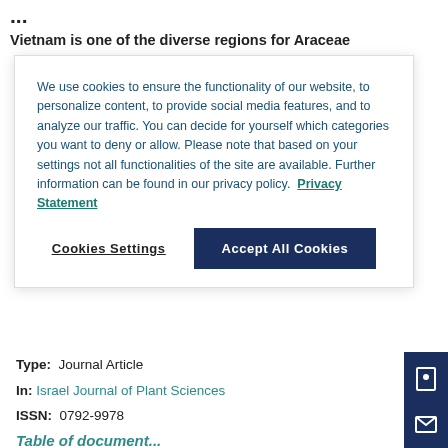Vietnam is one of the diverse regions for Araceae
We use cookies to ensure the functionality of our website, to personalize content, to provide social media features, and to analyze our traffic. You can decide for yourself which categories you want to deny or allow. Please note that based on your settings not all functionalities of the site are available. Further information can be found in our privacy policy. Privacy Statement
Cookies Settings | Accept All Cookies
Type:  Journal Article
In: Israel Journal of Plant Sciences
ISSN:  0792-9978
Publication Date:  29 Jun 2022
In:  Advance Articles
Table of contents / Save